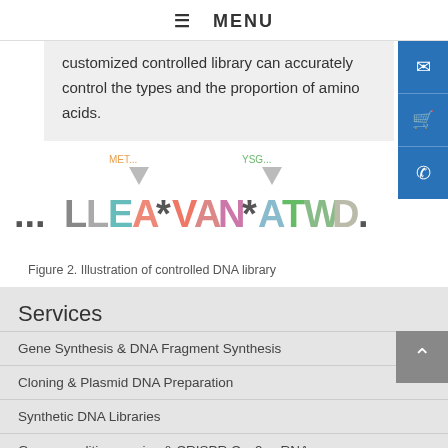≡ MENU
customized controlled library can accurately control the types and the proportion of amino acids.
[Figure (illustration): Illustration of controlled DNA library showing amino acid codes with colored letters: ...LLEA*VAN*ATWD. with triangle arrows and labels MET... and YSG... above]
Figure 2. Illustration of controlled DNA library
Services
Gene Synthesis & DNA Fragment Synthesis
Cloning & Plasmid DNA Preparation
Synthetic DNA Libraries
Genome editing service & CRISPR Cas9 sgRNA